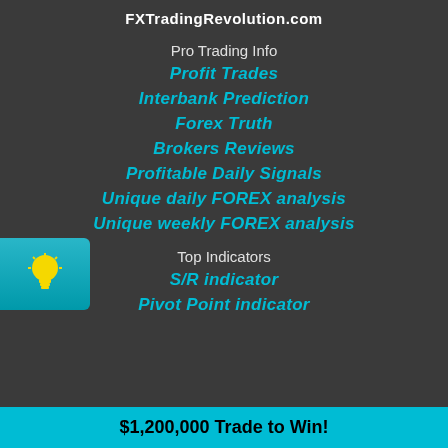FXTradingRevolution.com
Pro Trading Info
Profit Trades
Interbank Prediction
Forex Truth
Brokers Reviews
Profitable Daily Signals
Unique daily FOREX analysis
Unique weekly FOREX analysis
Top Indicators
S/R indicator
Pivot Point indicator
$1,200,000 Trade to Win!